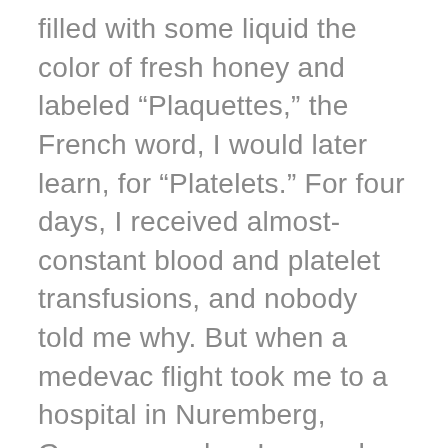filled with some liquid the color of fresh honey and labeled “Plaquettes,” the French word, I would later learn, for “Platelets.” For four days, I received almost-constant blood and platelet transfusions, and nobody told me why. But when a medevac flight took me to a hospital in Nuremberg, Germany and as I passed beneath a sign that read “oncology,” it occurred to me that I never really knew what that word meant. It wouldn’t be long until I found out.
It would take three years, 32 surgeries, chemo, radiation, a stem cell transplant from a young woman from Oklahoma and 264 more blood transfusions to cure me of cancer and clean up the mess it made inside me. My heroes are surgeons, nurses, oncologists, an Oklahoman